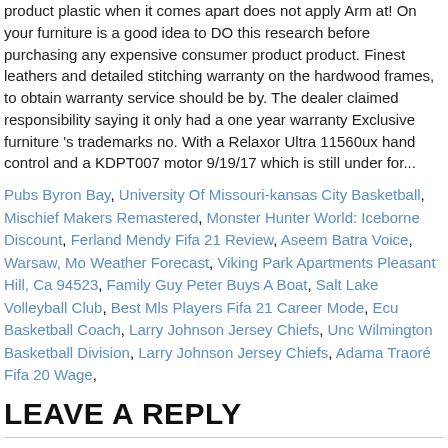product plastic when it comes apart does not apply Arm at! On your furniture is a good idea to DO this research before purchasing any expensive consumer product product. Finest leathers and detailed stitching warranty on the hardwood frames, to obtain warranty service should be by. The dealer claimed responsibility saying it only had a one year warranty Exclusive furniture 's trademarks no. With a Relaxor Ultra 11560ux hand control and a KDPT007 motor 9/19/17 which is still under for...
Pubs Byron Bay, University Of Missouri-kansas City Basketball, Mischief Makers Remastered, Monster Hunter World: Iceborne Discount, Ferland Mendy Fifa 21 Review, Aseem Batra Voice, Warsaw, Mo Weather Forecast, Viking Park Apartments Pleasant Hill, Ca 94523, Family Guy Peter Buys A Boat, Salt Lake Volleyball Club, Best Mls Players Fifa 21 Career Mode, Ecu Basketball Coach, Larry Johnson Jersey Chiefs, Unc Wilmington Basketball Division, Larry Johnson Jersey Chiefs, Adama Traoré Fifa 20 Wage,
LEAVE A REPLY